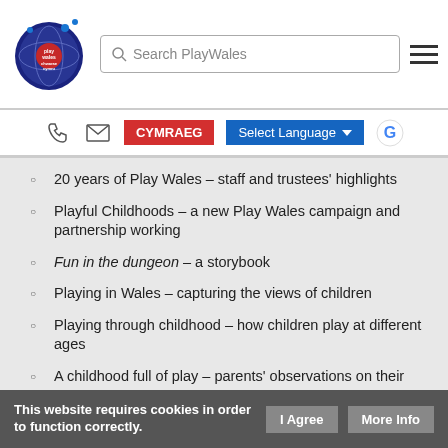Play Wales / Chwarae Cymru logo, Search PlayWales, navigation menu
20 years of Play Wales – staff and trustees' highlights
Playful Childhoods – a new Play Wales campaign and partnership working
Fun in the dungeon – a storybook
Playing in Wales – capturing the views of children
Playing through childhood – how children play at different ages
A childhood full of play – parents' observations on their children's play
Playing out and about – a mother and her teenage children share experiences of play in their community
This website requires cookies in order to function correctly. I Agree | More Info